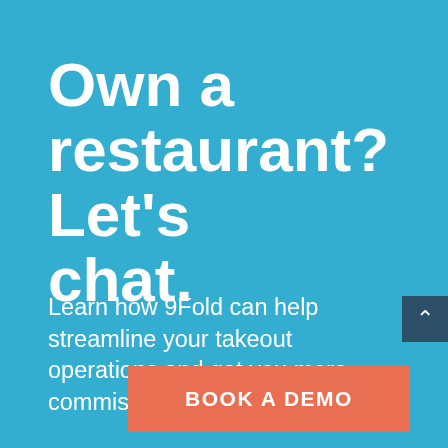Own a restaurant? Let’s chat.
Learn how 9Fold can help streamline your takeout operations and get you more commission-free orders!
BOOK A DEMO